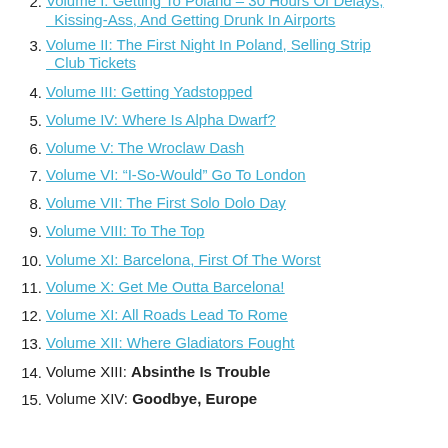2. Volume I: Getting To Poland – 30 Hours Of Delays, Kissing-Ass, And Getting Drunk In Airports
3. Volume II: The First Night In Poland, Selling Strip Club Tickets
4. Volume III: Getting Yadstopped
5. Volume IV: Where Is Alpha Dwarf?
6. Volume V: The Wroclaw Dash
7. Volume VI: “I-So-Would” Go To London
8. Volume VII: The First Solo Dolo Day
9. Volume VIII: To The Top
10. Volume XI: Barcelona, First Of The Worst
11. Volume X: Get Me Outta Barcelona!
12. Volume XI: All Roads Lead To Rome
13. Volume XII: Where Gladiators Fought
14. Volume XIII: Absinthe Is Trouble
15. Volume XIV: Goodbye, Europe